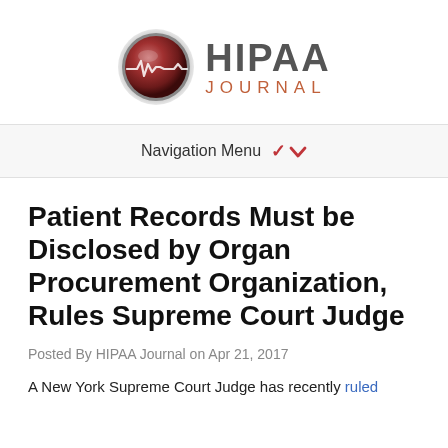[Figure (logo): HIPAA Journal logo with a circular metallic red/brown icon showing a heartbeat line and the text HIPAA JOURNAL]
Navigation Menu ▾
Patient Records Must be Disclosed by Organ Procurement Organization, Rules Supreme Court Judge
Posted By HIPAA Journal on Apr 21, 2017
A New York Supreme Court Judge has recently ruled